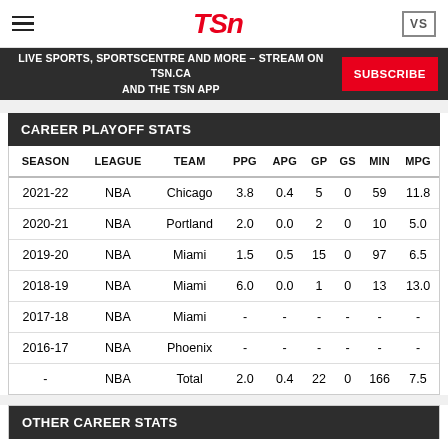TSN
LIVE SPORTS, SPORTSCENTRE AND MORE – STREAM ON TSN.CA AND THE TSN APP  SUBSCRIBE
CAREER PLAYOFF STATS
| SEASON | LEAGUE | TEAM | PPG | APG | GP | GS | MIN | MPG |
| --- | --- | --- | --- | --- | --- | --- | --- | --- |
| 2021-22 | NBA | Chicago | 3.8 | 0.4 | 5 | 0 | 59 | 11.8 |
| 2020-21 | NBA | Portland | 2.0 | 0.0 | 2 | 0 | 10 | 5.0 |
| 2019-20 | NBA | Miami | 1.5 | 0.5 | 15 | 0 | 97 | 6.5 |
| 2018-19 | NBA | Miami | 6.0 | 0.0 | 1 | 0 | 13 | 13.0 |
| 2017-18 | NBA | Miami | - | - | - | - | - | - |
| 2016-17 | NBA | Phoenix | - | - | - | - | - | - |
| - | NBA | Total | 2.0 | 0.4 | 22 | 0 | 166 | 7.5 |
OTHER CAREER STATS